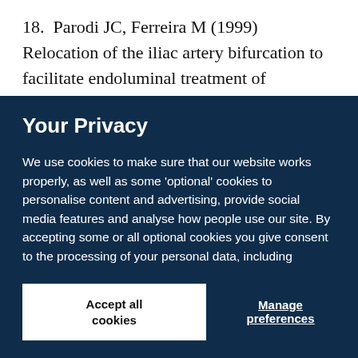18. Parodi JC, Ferreira M (1999) Relocation of the iliac artery bifurcation to facilitate endoluminal treatment of abdominal aortic aneurysms. J Endovasc Surg
Your Privacy
We use cookies to make sure that our website works properly, as well as some 'optional' cookies to personalise content and advertising, provide social media features and analyse how people use our site. By accepting some or all optional cookies you give consent to the processing of your personal data, including transfer to third parties, some in countries outside of the European Economic Area that do not offer the same data protection standards as the country where you live. You can decide which optional cookies to accept by clicking on 'Manage Settings', where you can also find more information about how your personal data is processed. Further information can be found in our privacy policy.
Accept all cookies
Manage preferences